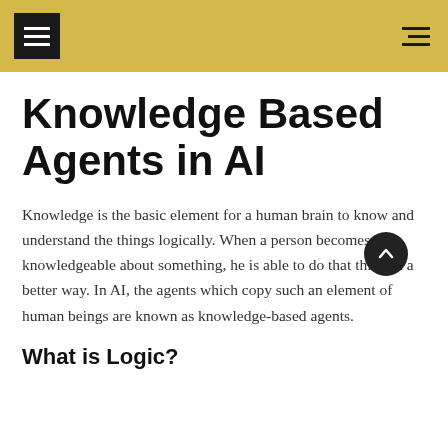Knowledge Based Agents in AI
Knowledge is the basic element for a human brain to know and understand the things logically. When a person becomes knowledgeable about something, he is able to do that thing in a better way. In AI, the agents which copy such an element of human beings are known as knowledge-based agents.
What is Logic?